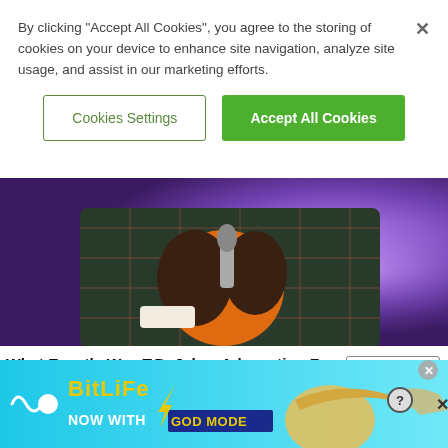By clicking “Accept All Cookies”, you agree to the storing of cookies on your device to enhance site navigation, analyze site usage, and assist in our marketing efforts.
Cookies Settings
Accept All Cookies
[Figure (photo): Close-up photo of a person wearing a dark plaid blazer with an orange shirt, holding a microphone, against a purple/blue stage lighting background.]
What Exactly Was T.D. Jakes Advocating For In His Controversial Father’s Day Sermon?
Blavity
Read more
[Figure (screenshot): Advertisement banner for BitLife game: ‘BitLife – Now With GOD MODE’ with cyan background, yellow logo, pointing hand graphic, close and help buttons.]